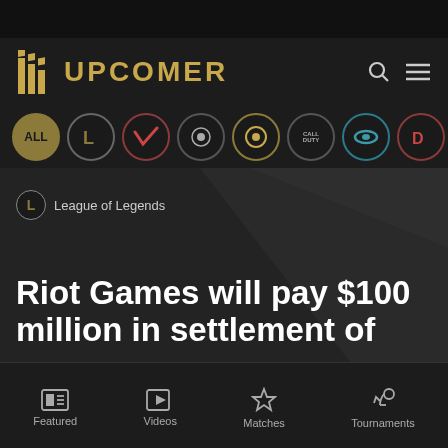[Figure (screenshot): Upcomer esports website mobile screenshot showing logo, game category icons, and article headline about Riot Games $100 million settlement]
UPCOMER
League of Legends
Riot Games will pay $100 million in settlement of
Featured | Videos | Matches | Tournaments